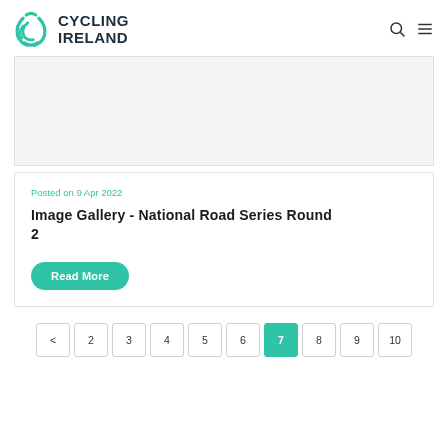Cycling Ireland
[Figure (photo): Image placeholder area for an article image]
Posted on 9 Apr 2022
Image Gallery - National Road Series Round 2
Read More
Pagination: < 2 3 4 5 6 7 8 9 10